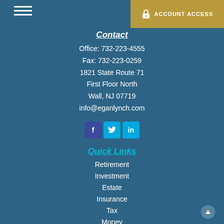ACCOUNT ACCESS
Contact
Office: 732-223-4555
Fax: 732-223-0259
1821 State Route 71
First Floor North
Wall, NJ 07719
info@eganlynch.com
[Figure (other): Social media icons: Facebook, Twitter, LinkedIn]
Quick Links
Retirement
Investment
Estate
Insurance
Tax
Money
Lifestyle
All Articles